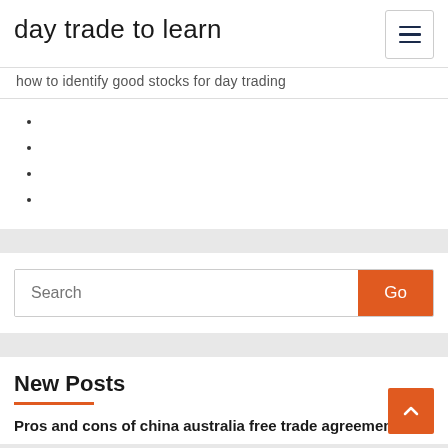day trade to learn
how to identify good stocks for day trading
New Posts
Pros and cons of china australia free trade agreement